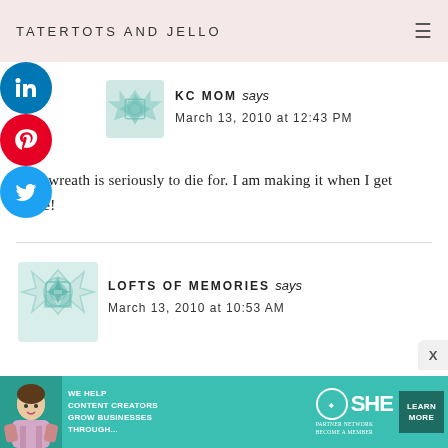TATERTOTS AND JELLO
KC MOM says
March 13, 2010 at 12:43 PM
That wreath is seriously to die for. I am making it when I get home!
LOFTS OF MEMORIES says
March 13, 2010 at 10:53 AM
[Figure (infographic): SHE Media partner network advertisement banner with text: WE HELP CONTENT CREATORS GROW BUSINESSES THROUGH... and a LEARN MORE button]